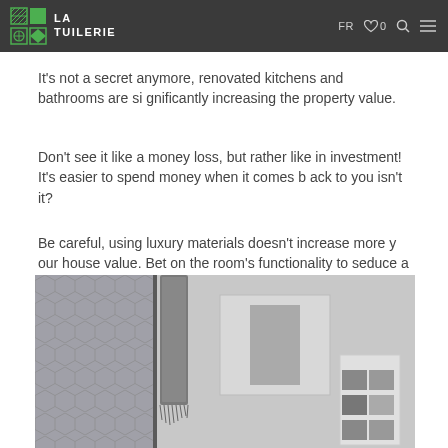LA TUILERIE — FR ♡ 0 🔍 ☰
It's not a secret anymore, renovated kitchens and bathrooms are significantly increasing the property value.
Don't see it like a money loss, but rather like in investment! It's easier to spend money when it comes back to you isn't it?
Be careful, using luxury materials doesn't increase more your house value. Bet on the room's functionality to seduce a potential buyer.
[Figure (photo): Bathroom interior photo showing patterned tiles on the left, a hanging towel, and a large mirror or cabinet on the right with small tile samples displayed]